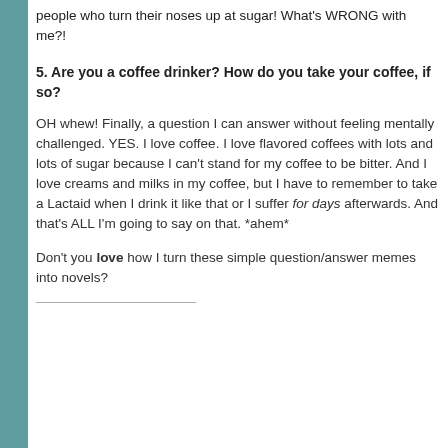people who turn their noses up at sugar! What's WRONG with me?!
5. Are you a coffee drinker? How do you take your coffee, if so?
OH whew! Finally, a question I can answer without feeling mentally challenged. YES. I love coffee. I love flavored coffees with lots and lots of sugar because I can't stand for my coffee to be bitter. And I love creams and milks in my coffee, but I have to remember to take a Lactaid when I drink it like that or I suffer for days afterwards. And that's ALL I'm going to say on that. *ahem*
Don't you love how I turn these simple question/answer memes into novels?